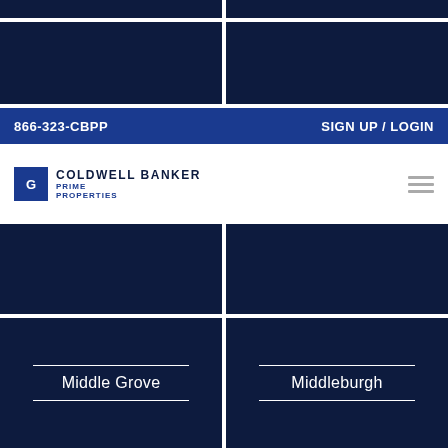866-323-CBPP    SIGN UP / LOGIN
[Figure (logo): Coldwell Banker Prime Properties logo with CB icon, brand name, and hamburger menu icon]
Middle Grove
Middleburgh